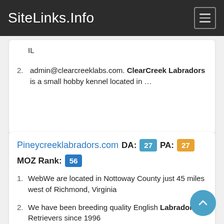SiteLinks.Info
IL
admin@clearcreeklabs.com. ClearCreek Labradors is a small hobby kennel located in …
Pineycreeklabradors.com   DA: 27   PA: 27   MOZ Rank: 56
WebWe are located in Nottoway County just 45 miles west of Richmond, Virginia
We have been breeding quality English Labrador Retrievers since 1996
Can / Int'l / Honors B, S / …